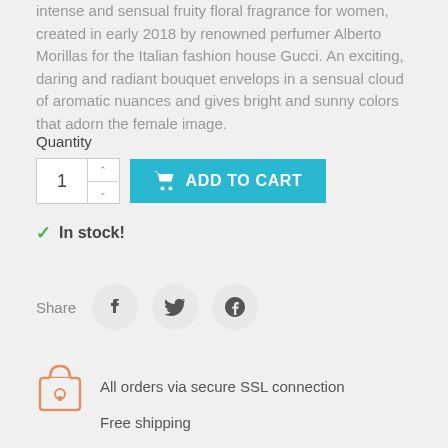intense and sensual fruity floral fragrance for women, created in early 2018 by renowned perfumer Alberto Morillas for the Italian fashion house Gucci. An exciting, daring and radiant bouquet envelops in a sensual cloud of aromatic nuances and gives bright and sunny colors that adorn the female image.
Quantity
[Figure (screenshot): Quantity input box showing number 1 with up/down arrows, and a teal 'ADD TO CART' button with cart icon]
✓ In stock!
Share
[Figure (infographic): Social share buttons: Facebook, Twitter, Pinterest icons in light grey circles]
All orders via secure SSL connection
Free shipping